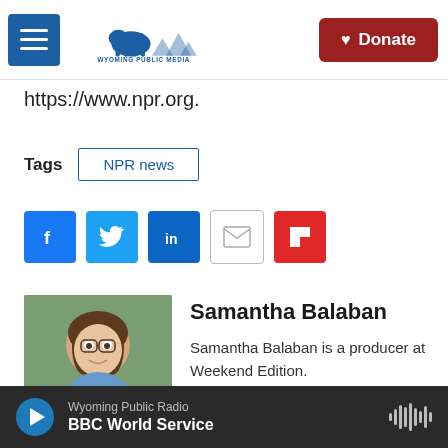Wyoming Public Media — Donate
https://www.npr.org.
Tags  NPR news
[Figure (other): Social share icons: Facebook, Twitter, LinkedIn, Email, Flipboard]
[Figure (photo): Headshot photo of Samantha Balaban outdoors, smiling, wearing glasses and a blue floral top]
Samantha Balaban
Samantha Balaban is a producer at Weekend Edition.
See stories by Samantha Balaban
Wyoming Public Radio  BBC World Service